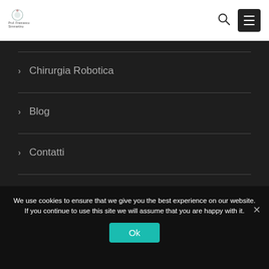[Figure (logo): Prof. Francesco Simmartino logo with stylized circular emblem and text]
> Chirurgia Robotica
> Blog
> Contatti
We use cookies to ensure that we give you the best experience on our website. If you continue to use this site we will assume that you are happy with it.
Ok